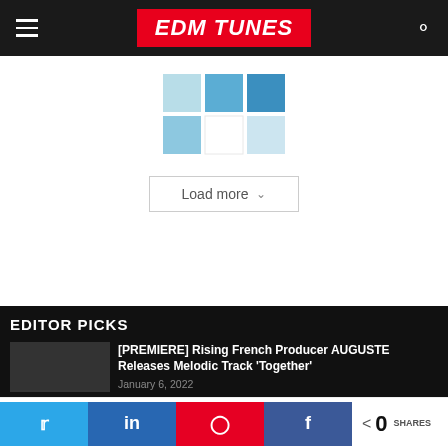EDMTUNES
[Figure (other): Loading spinner grid with blue squares in a 3x2 grid pattern]
Load more
EDITOR PICKS
[PREMIERE] Rising French Producer AUGUSTE Releases Melodic Track 'Together'
January 6, 2022
0 SHARES